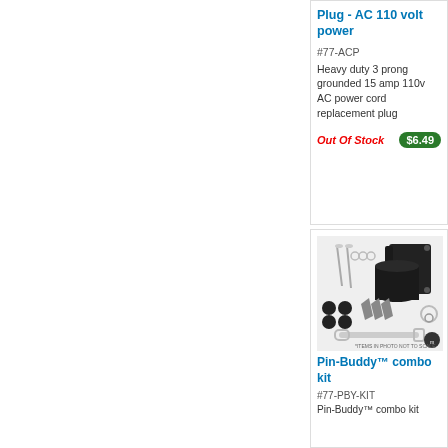Plug - AC 110 volt power
#77-ACP
Heavy duty 3 prong grounded 15 amp 110v AC power cord replacement plug
Out Of Stock
$6.49
[Figure (photo): Pin-Buddy combo kit product photo showing various hardware components including screws, washers, rubber caps, blade pieces, a cup holder bracket, and a wrench. Label reads *ITEMS IN PHOTO NOT TO SCALE*.]
Pin-Buddy™ combo kit
#77-PBY-KIT
Pin-Buddy™ combo kit